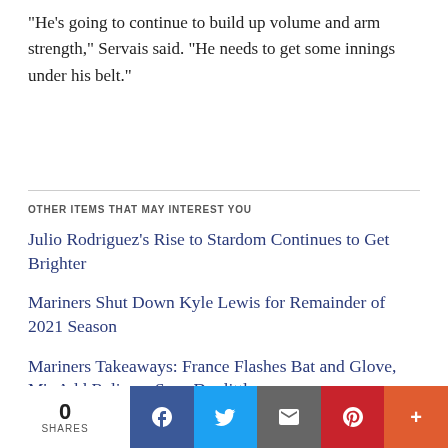"He's going to continue to build up volume and arm strength," Servais said. "He needs to get some innings under his belt."
OTHER ITEMS THAT MAY INTEREST YOU
Julio Rodriguez's Rise to Stardom Continues to Get Brighter
Mariners Shut Down Kyle Lewis for Remainder of 2021 Season
Mariners Takeaways: France Flashes Bat and Glove, M's Add Reliever Sean Doolittle
Manager of the Year? Few, If Any, AL Skippers Are More Deserving Than the Mariners' Scott Servais
0 SHARES | Facebook | Twitter | Email | Pinterest | More